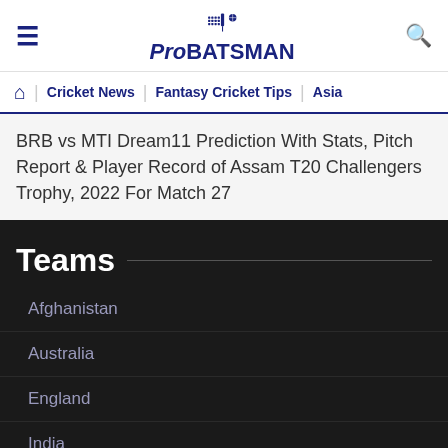Pro BATSMAN — Cricket News | Fantasy Cricket Tips | Asia
BRB vs MTI Dream11 Prediction With Stats, Pitch Report & Player Record of Assam T20 Challengers Trophy, 2022 For Match 27
Teams
Afghanistan
Australia
England
India